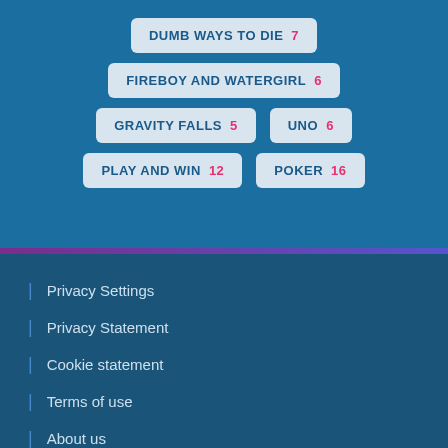DUMB WAYS TO DIE 7
FIREBOY AND WATERGIRL 6
GRAVITY FALLS 5
UNO 6
PLAY AND WIN 12
POKER 16
| Privacy Settings
| Privacy Statement
| Cookie statement
| Terms of use
| About us